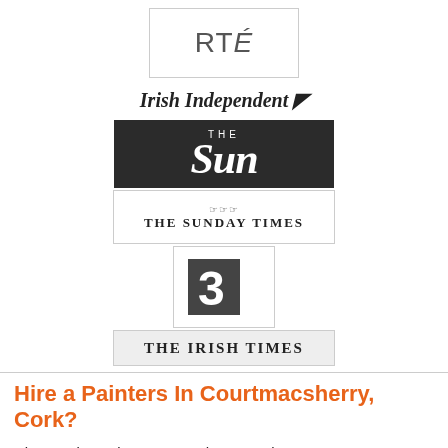[Figure (logo): RTE logo in a bordered box]
[Figure (logo): Irish Independent logo with italic serif text and shield icon]
[Figure (logo): The Sun newspaper logo with white text on dark background]
[Figure (logo): The Sunday Times logo with crown emblem]
[Figure (logo): E3 logo in a bordered box with dark square and stylized '3']
[Figure (logo): The Irish Times logo on grey background]
Hire a Painters In Courtmacsherry, Cork?
Hire a Painters in Courtmacsherry, Cork. To get up to 5 quotes from Painters in Courtmacsherry, simply enter your home improvement job details in the form above. You will get Painters quotes back by email and SMS.